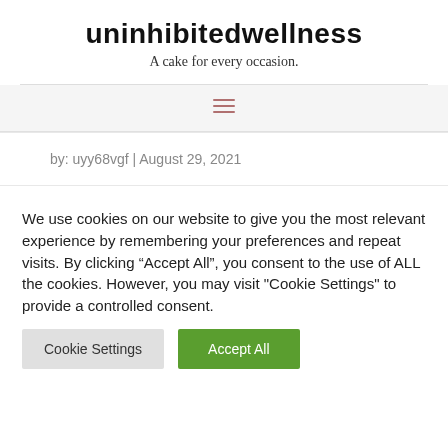uninhibitedwellness
A cake for every occasion.
[Figure (other): Hamburger menu icon with three horizontal lines in reddish-brown color]
by: uyy68vgf | August 29, 2021
We use cookies on our website to give you the most relevant experience by remembering your preferences and repeat visits. By clicking “Accept All”, you consent to the use of ALL the cookies. However, you may visit "Cookie Settings" to provide a controlled consent.
Cookie Settings
Accept All